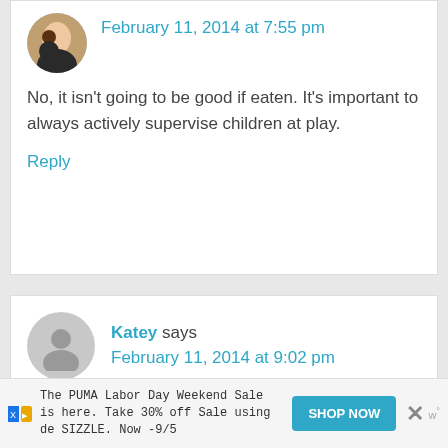[Figure (photo): Avatar photo of a woman and child, circular crop]
February 11, 2014 at 7:55 pm
No, it isn't going to be good if eaten. It's important to always actively supervise children at play.
Reply
[Figure (illustration): Generic gray user avatar icon, circular]
Katey says February 11, 2014 at 9:02 pm
The PUMA Labor Day Weekend Sale is here. Take 30% off Sale using code SIZZLE. Now -9/5
SHOP NOW